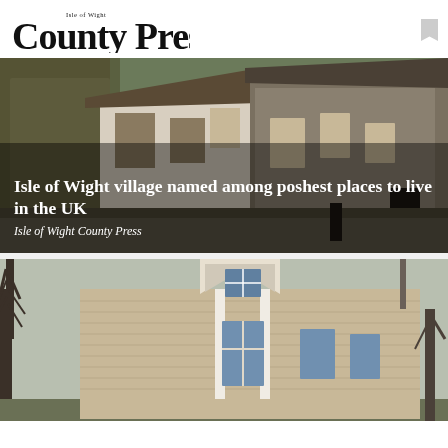Isle of Wight County Press
[Figure (photo): Stone and whitewashed cottages on a steep cobbled lane, covered in ivy, with thatched and tiled roofs — Gold Hill, Shaftesbury style village scene. Headline overlaid: 'Isle of Wight village named among poshest places to live in the UK'. Source: Isle of Wight County Press.]
Isle of Wight village named among poshest places to live in the UK
Isle of Wight County Press
[Figure (photo): Exterior of a beige/tan clapboard-sided house with a white dormer window and white column trim, surrounded by bare winter trees.]